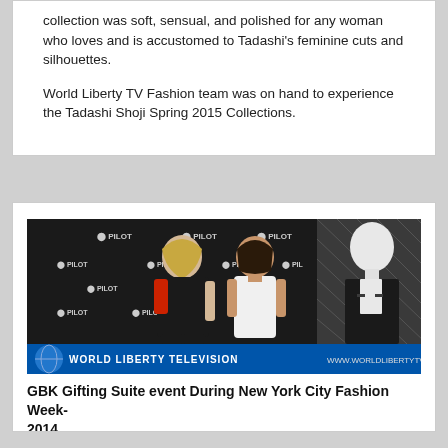collection was soft, sensual, and polished for any woman who loves and is accustomed to Tadashi's feminine cuts and silhouettes.
World Liberty TV Fashion team was on hand to experience the Tadashi Shoji Spring 2015 Collections.
[Figure (photo): Photo of two women posing with a mannequin wearing a black dress in front of a PILOT branded backdrop. A World Liberty Television lower-third overlay reads 'WORLD LIBERTY TELEVISION www.worldlibertytv.org'.]
GBK Gifting Suite event During New York City Fashion Week-2014